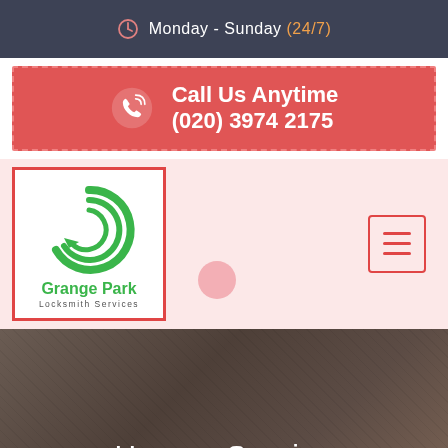Monday - Sunday (24/7)
Call Us Anytime
(020) 3974 2175
[Figure (logo): Grange Park Locksmith Services logo with green circular lock icon and red border]
Home . Service